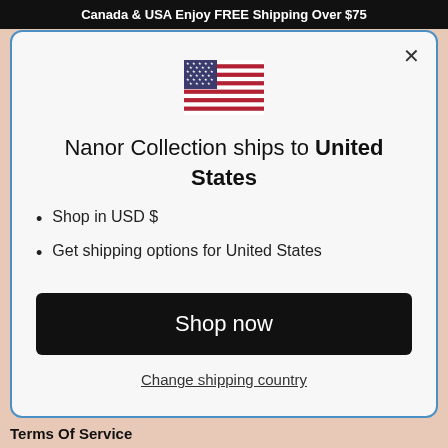Canada & USA Enjoy FREE Shipping Over $75
Nanor Collection ships to United States
Shop in USD $
Get shipping options for United States
Shop now
Change shipping country
Terms Of Service